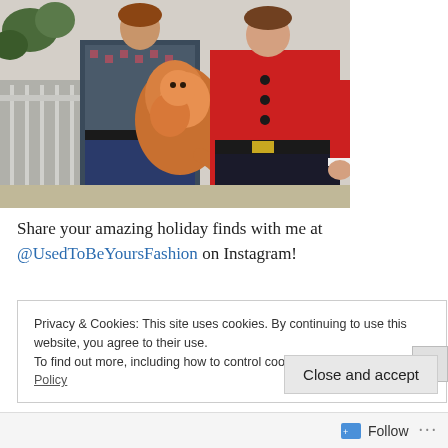[Figure (photo): Two people wearing holiday/Christmas sweaters, one holding a large fluffy orange cat, standing on a porch with railings and greenery in the background.]
Share your amazing holiday finds with me at @UsedToBeYoursFashion on Instagram!
Privacy & Cookies: This site uses cookies. By continuing to use this website, you agree to their use.
To find out more, including how to control cookies, see here: Cookie Policy
Close and accept
Follow ...